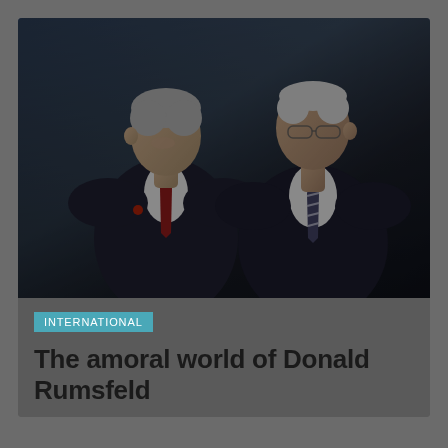[Figure (photo): Two men in dark suits standing back-to-back against a blue-toned background. The man on the left wears a red tie; the man on the right wears a striped tie. The image has a dark, moody tone.]
INTERNATIONAL
The amoral world of Donald Rumsfeld